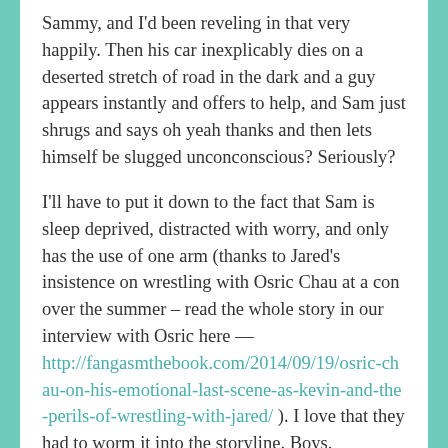Sammy, and I'd been reveling in that very happily. Then his car inexplicably dies on a deserted stretch of road in the dark and a guy appears instantly and offers to help, and Sam just shrugs and says oh yeah thanks and then lets himself be slugged unconconscious? Seriously?
I'll have to put it down to the fact that Sam is sleep deprived, distracted with worry, and only has the use of one arm (thanks to Jared's insistence on wrestling with Osric Chau at a con over the summer – read the whole story in our interview with Osric here — http://fangasmthebook.com/2014/09/19/osric-chau-on-his-emotional-last-scene-as-kevin-and-the-perils-of-wrestling-with-jared/ ). I love that they had to worm it into the storyline. Boys.